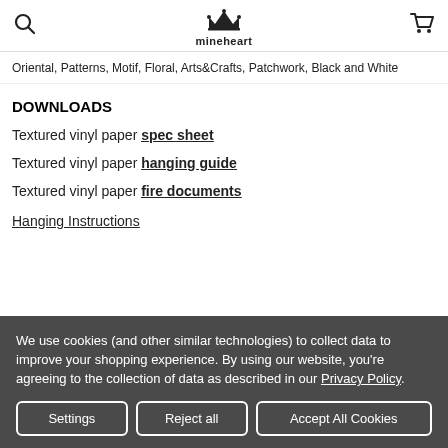mineheart
Oriental, Patterns, Motif, Floral, Arts&Crafts, Patchwork, Black and White
DOWNLOADS
Textured vinyl paper spec sheet
Textured vinyl paper hanging guide
Textured vinyl paper fire documents
Hanging Instructions
We use cookies (and other similar technologies) to collect data to improve your shopping experience. By using our website, you're agreeing to the collection of data as described in our Privacy Policy.
Settings | Reject all | Accept All Cookies